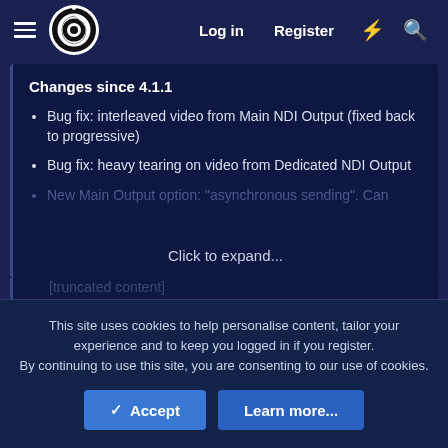Log in  Register
Changes since 4.1.1
Bug fix: interleaved video from Main NDI Output (fixed back to progressive)
Bug fix: heavy tearing on video from Dedicated NDI Output
New Main Output option: "asynchronous sending". Can [faded/truncated]
Click to expand...
Read the rest of this update entry...
This site uses cookies to help personalise content, tailor your experience and to keep you logged in if you register.
By continuing to use this site, you are consenting to our use of cookies.
✓ Accept
Learn more...